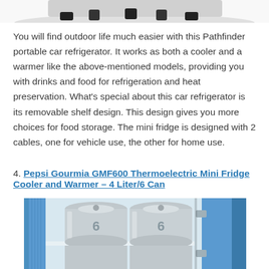[Figure (photo): Top portion of a portable car refrigerator product image, showing the top/lid area with black rubber feet or handles visible against a white background with faint shadow.]
You will find outdoor life much easier with this Pathfinder portable car refrigerator. It works as both a cooler and a warmer like the above-mentioned models, providing you with drinks and food for refrigeration and heat preservation. What's special about this car refrigerator is its removable shelf design. This design gives you more choices for food storage. The mini fridge is designed with 2 cables, one for vehicle use, the other for home use.
4. Pepsi Gourmia GMF600 Thermoelectric Mini Fridge Cooler and Warmer – 4 Liter/6 Can
[Figure (photo): Photo of a blue Pepsi Gourmia GMF600 mini fridge cooler with its door open, showing two silver/aluminum soda cans (Pepsi branding) stored inside on a shelf, with additional cans visible below.]